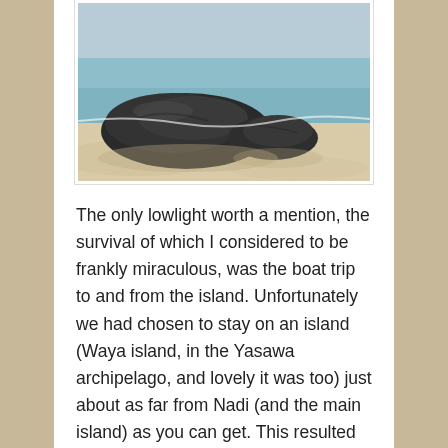[Figure (photo): A beach scene showing dark volcanic rocks on white sand with turquoise ocean water in the background.]
The only lowlight worth a mention, the survival of which I considered to be frankly miraculous, was the boat trip to and from the island. Unfortunately we had chosen to stay on an island (Waya island, in the Yasawa archipelago, and lovely it was too) just about as far from Nadi (and the main island) as you can get. This resulted in an hour and a half speedboat trip each way that had